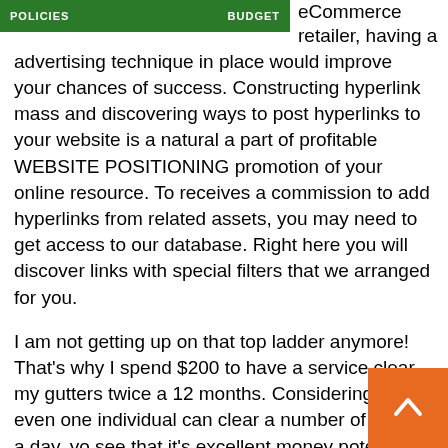[Figure (screenshot): Green banner image with white text 'POLICIES' on the left and 'BUDGET' on the right, partially visible at top of page]
eCommerce retailer, having a advertising technique in place would improve your chances of success. Constructing hyperlink mass and discovering ways to post hyperlinks to your website is a natural a part of profitable WEBSITE POSITIONING promotion of your online resource. To receives a commission to add hyperlinks from related assets, you may need to get access to our database. Right here you will discover links with special filters that we arranged for you.
I am not getting up on that top ladder anymore! That's why I spend $200 to have a service clear my gutters twice a 12 months. Considering that even one individual can clear a number of houses a day, yo see that it's excellent money potential. Try really